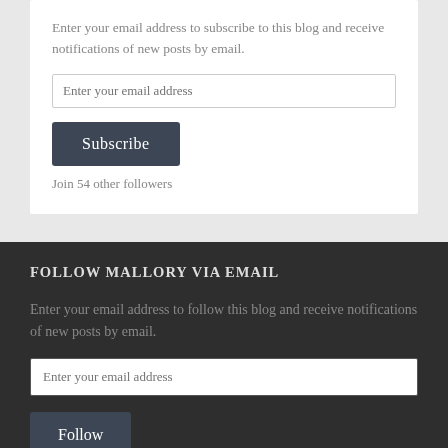Enter your email address to subscribe to this blog and receive notifications of new posts by email.
Join 54 other followers
FOLLOW MALLORY VIA EMAIL
Enter your email address to follow this blog and receive notifications of new posts by email.
Join 54 other followers